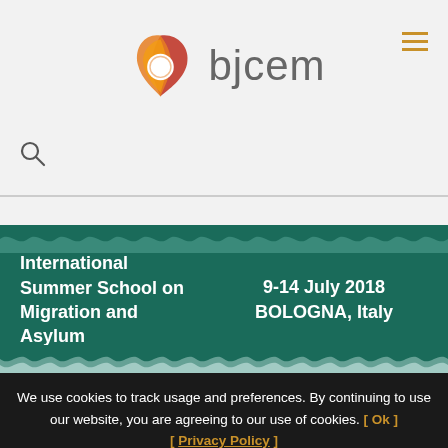[Figure (logo): BJCEM logo: circular flame-like shape in orange/red with white circle center, beside text 'bjcem' in gray]
[Figure (other): Hamburger menu icon (three horizontal yellow/gold lines) in top right corner]
[Figure (other): Search magnifying glass icon in lower left of header]
International Summer School on Migration and Asylum
9-14 July 2018 BOLOGNA, Italy
We use cookies to track usage and preferences. By continuing to use our website, you are agreeing to our use of cookies. [ Ok ]
[ Privacy Policy ]